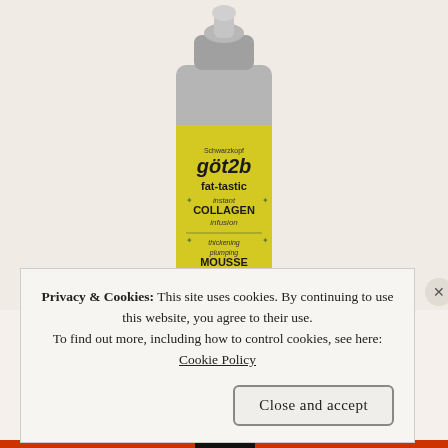[Figure (photo): A can/bottle of Schwarzkopf got2b fat-tastic instant COLLAGEN infusion thickening plumping MOUSSE with a yellow label and silver metallic pump top, photographed against a light background.]
Privacy & Cookies: This site uses cookies. By continuing to use this website, you agree to their use.
To find out more, including how to control cookies, see here: Cookie Policy
Close and accept